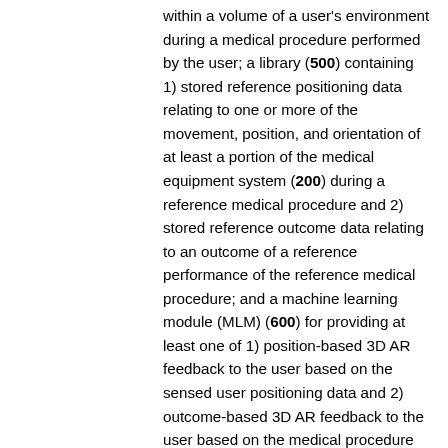within a volume of a user's environment during a medical procedure performed by the user; a library (500) containing 1) stored reference positioning data relating to one or more of the movement, position, and orientation of at least a portion of the medical equipment system (200) during a reference medical procedure and 2) stored reference outcome data relating to an outcome of a reference performance of the reference medical procedure; and a machine learning module (MLM) (600) for providing at least one of 1) position-based 3D AR feedback to the user based on the sensed user positioning data and 2) outcome-based 3D AR feedback to the user based on the medical procedure outcome, the MLM (600) comprising a position-based feedback module comprising a first module for receiving and analyzing real-time user positioning data; a second module for comparing the user positioning data to the stored reference positioning data, and a third module for generating real-time position-based 3D AR feedback based on the output of the second module, and providing